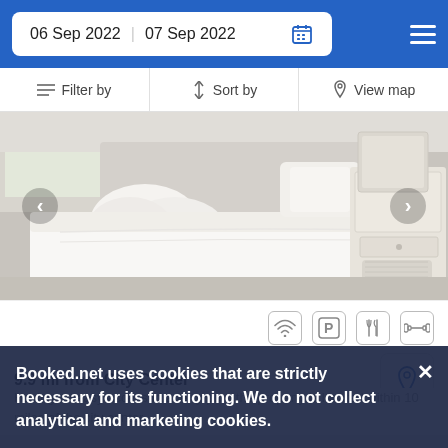06 Sep 2022   07 Sep 2022
Filter by   Sort by   View map
[Figure (photo): Hotel bedroom with a white bed, white pillows, and a white wooden nightstand with a basket underneath. Light from window visible on left.]
9.9 mi from City Center
Having an easy access to a ferry port, the property is located within 10 miles of the city center.
Booked.net uses cookies that are strictly necessary for its functioning. We do not collect analytical and marketing cookies.